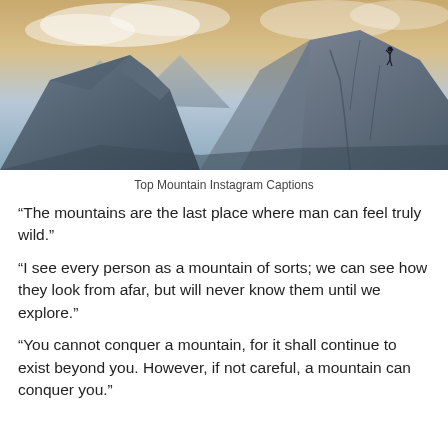[Figure (photo): A dramatic mountain landscape with jagged rocky peaks under a cloudy sky. A rock climber can be seen scaling steep rock face on the upper right.]
Top Mountain Instagram Captions
“The mountains are the last place where man can feel truly wild.”
“I see every person as a mountain of sorts; we can see how they look from afar, but will never know them until we explore.”
“You cannot conquer a mountain, for it shall continue to exist beyond you. However, if not careful, a mountain can conquer you.”